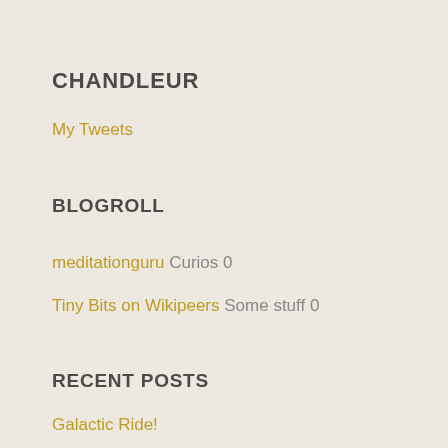CHANDLEUR
My Tweets
BLOGROLL
meditationguruCurios 0
Tiny Bits on WikipeersSome stuff 0
RECENT POSTS
Galactic Ride!
Remembering Cool Bengaluru!